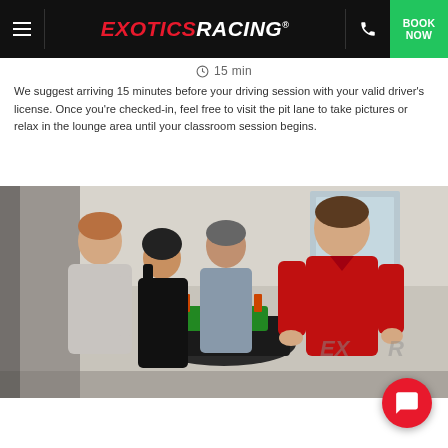EXOTICSRACING — navigation bar with hamburger menu, logo, phone icon, BOOK NOW button
⏱ 15 min
We suggest arriving 15 minutes before your driving session with your valid driver's license. Once you're checked-in, feel free to visit the pit lane to take pictures or relax in the lounge area until your classroom session begins.
[Figure (photo): Group of people (three guests and one instructor in red polo shirt) gathered around a race car engine display inside an Exotics Racing facility. The instructor is smiling and presenting the engine to the group.]
[Figure (other): Red circular chat/support button with speech bubble icon in the bottom-right corner]